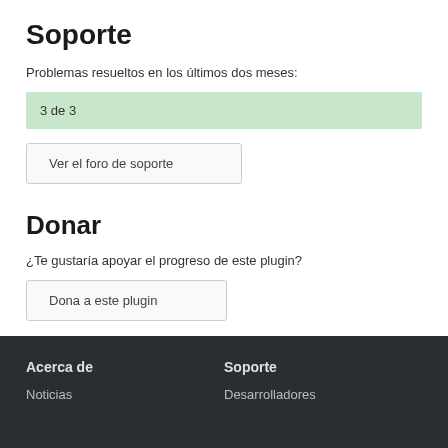Soporte
Problemas resueltos en los últimos dos meses:
3 de 3
Ver el foro de soporte
Donar
¿Te gustaría apoyar el progreso de este plugin?
Dona a este plugin
Acerca de
Soporte
Noticias
Desarrolladores